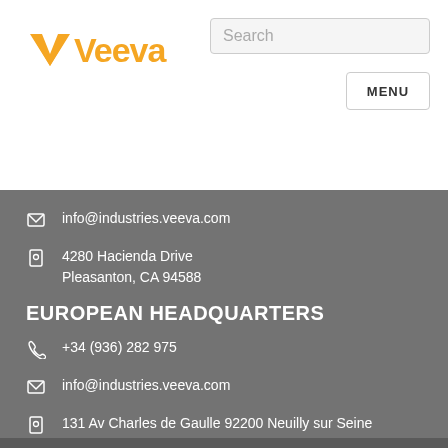[Figure (logo): Veeva logo in orange with checkmark-style V]
Search
MENU
info@industries.veeva.com
4280 Hacienda Drive
Pleasanton, CA 94588
EUROPEAN HEADQUARTERS
+34 (936) 282 975
info@industries.veeva.com
131 Av Charles de Gaulle 92200 Neuilly sur Seine FRANCE